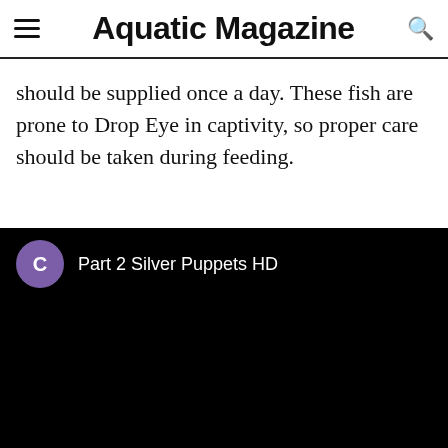Aquatic Magazine
should be supplied once a day. These fish are prone to Drop Eye in captivity, so proper care should be taken during feeding.
[Figure (screenshot): Video player screenshot showing black background with purple avatar circle labeled C and title 'Part 2 Silver Puppets HD']